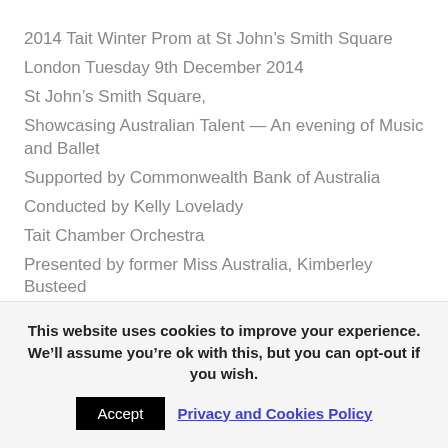2014 Tait Winter Prom at St John's Smith Square
London Tuesday 9th December 2014
St John's Smith Square,
Showcasing Australian Talent — An evening of Music and Ballet
Supported by Commonwealth Bank of Australia
Conducted by Kelly Lovelady
Tait Chamber Orchestra
Presented by former Miss Australia, Kimberley Busteed
Directed by Greg Eldridge
Jxxxxx Gillbxx Pixxo
This website uses cookies to improve your experience. We'll assume you're ok with this, but you can opt-out if you wish.
Accept
Privacy and Cookies Policy